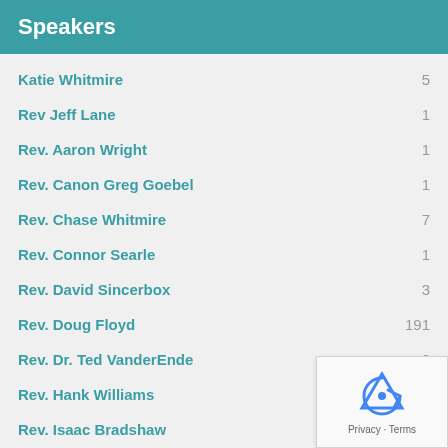Speakers
Katie Whitmire    5
Rev Jeff Lane    1
Rev. Aaron Wright    1
Rev. Canon Greg Goebel    1
Rev. Chase Whitmire    7
Rev. Connor Searle    1
Rev. David Sincerbox    3
Rev. Doug Floyd    191
Rev. Dr. Ted VanderEnde    2
Rev. Hank Williams    1
Rev. Isaac Bradshaw
Rev. Jack King    1